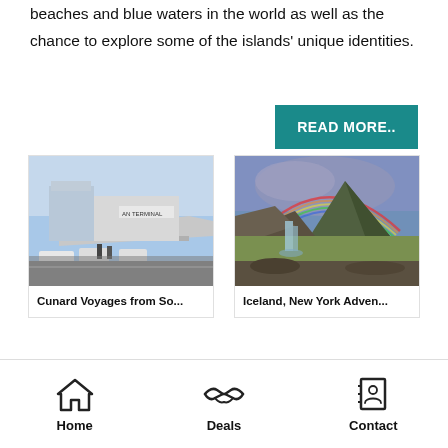beaches and blue waters in the world as well as the chance to explore some of the islands' unique identities.
READ MORE..
[Figure (photo): Cruise ship terminal building with cars and people in the foreground, sign reading 'AN TERMINAL' visible on the structure]
Cunard Voyages from So...
[Figure (photo): Scenic Iceland landscape with a rainbow over a mountain peak and waterfall in the foreground]
Iceland, New York Adven...
Home
Deals
Contact